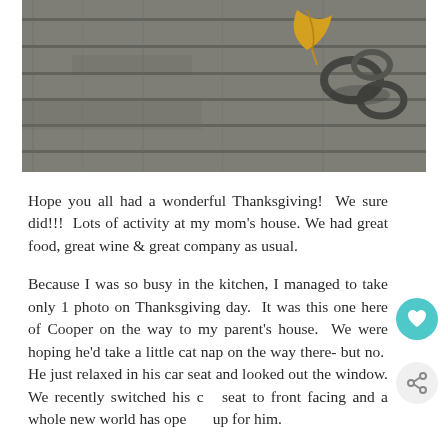[Figure (photo): Close-up photo of wooden deck planks or slats with metal hardware/chain, a yellow leaf resting on top, photographed in daylight]
Hope you all had a wonderful Thanksgiving!  We sure did!!!  Lots of activity at my mom's house. We had great food, great wine & great company as usual.
Because I was so busy in the kitchen, I managed to take only 1 photo on Thanksgiving day.  It was this one here of Cooper on the way to my parent's house.  We were hoping he'd take a little cat nap on the way there- but no.  He just relaxed in his car seat and looked out the window. We recently switched his car seat to front facing and a whole new world has opened up for him.